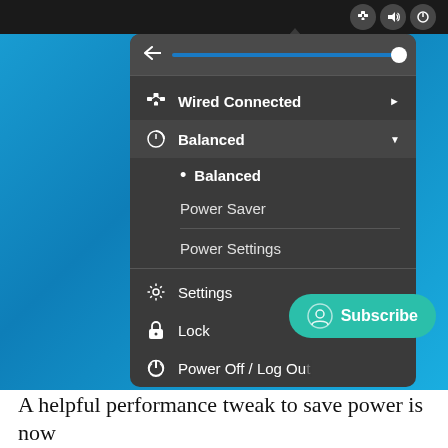[Figure (screenshot): GNOME Shell system menu screenshot showing a dark dropdown panel with a volume slider, Wired Connected, Balanced power mode (expanded to show Balanced, Power Saver, Power Settings), Settings, Lock, and Power Off / Log Out options. A teal Subscribe button overlay is visible in the bottom-right corner.]
A helpful performance tweak to save power is now